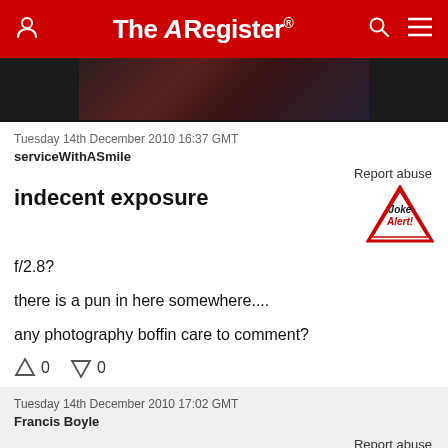The Register
[Figure (photo): Partial dark photo of person at keyboard, top portion visible]
Tuesday 14th December 2010 16:37 GMT
serviceWithASmile
Report abuse
indecent exposure
[Figure (illustration): Joke Alert badge - red triangle with 'Joke Alert!' text]
f/2.8?
there is a pun in here somewhere....
any photography boffin care to comment?
0  0
Tuesday 14th December 2010 17:02 GMT
Francis Boyle
Report abuse